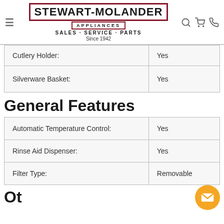Stewart-Molander Appliances — Sales · Service · Parts — Since 1942
| Cutlery Holder: | Yes |
| Silverware Basket: | Yes |
General Features
| Automatic Temperature Control: | Yes |
| Rinse Aid Dispenser: | Yes |
| Filter Type: | Removable |
Ot…